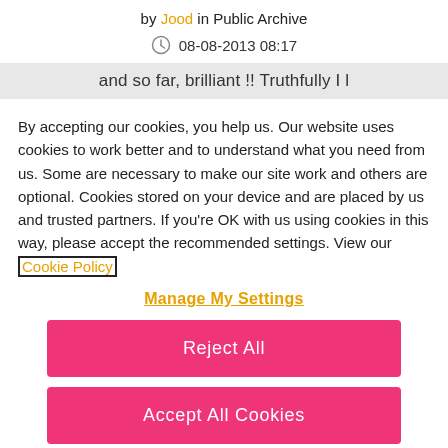by Jood in Public Archive
08-08-2013 08:17
and so far, brilliant !! Truthfully I l
By accepting our cookies, you help us. Our website uses cookies to work better and to understand what you need from us. Some are necessary to make our site work and others are optional. Cookies stored on your device and are placed by us and trusted partners. If you're OK with us using cookies in this way, please accept the recommended settings. View our Cookie Policy
Manage My Settings
Reject All
Accept All Cookies